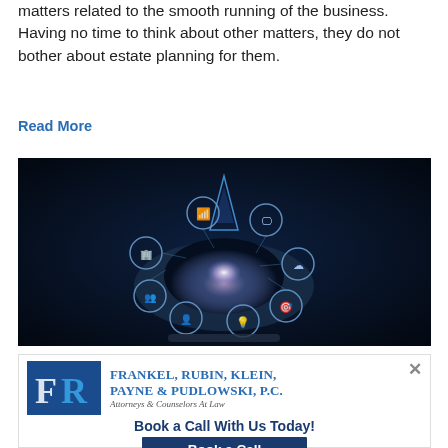matters related to the smooth running of the business. Having no time to think about other matters, they do not bother about estate planning for them.
Read More
[Figure (photo): Close-up of hands holding a glowing tablet with digital IoT network icons floating above it in a dark blue environment]
[Figure (logo): Frankel, Rubin, Klein, Payne & Pudlowski, P.C. — Attorneys & Counselors At Law — law firm advertisement with Book a Call With Us Today! button]